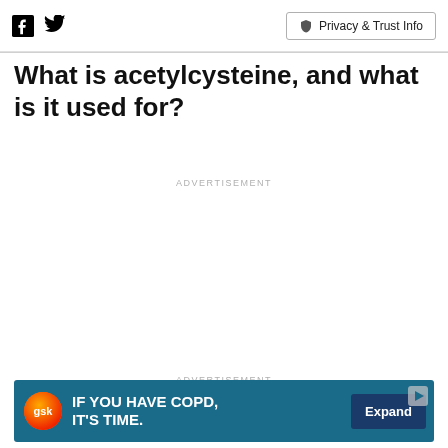Facebook | Twitter | Privacy & Trust Info
What is acetylcysteine, and what is it used for?
ADVERTISEMENT
ADVERTISEMENT
[Figure (infographic): GSK advertisement banner: IF YOU HAVE COPD, IT'S TIME. Expand button on right, play icon top right corner, GSK logo on left.]